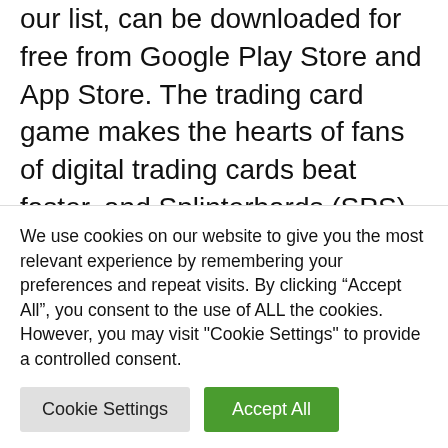our list, can be downloaded for free from Google Play Store and App Store. The trading card game makes the hearts of fans of digital trading cards beat faster, and Splinterhards (SPS) are called into the game as a reward for successful missions and battles.

Of course, there are non-replaceable symbols behind the virtual cards, which makes the monsters unique. The design is
We use cookies on our website to give you the most relevant experience by remembering your preferences and repeat visits. By clicking “Accept All”, you consent to the use of ALL the cookies. However, you may visit "Cookie Settings" to provide a controlled consent.